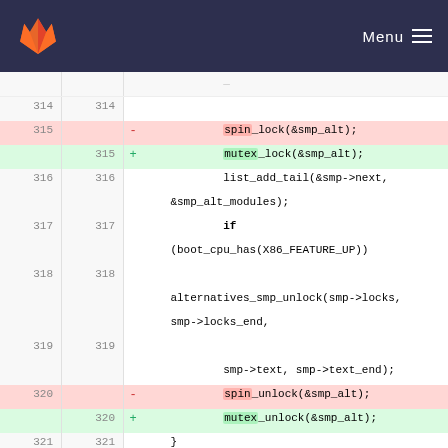GitLab navigation with Menu
Code diff showing lines 314-323 with spin_lock replaced by mutex_lock and spin_unlock replaced by mutex_unlock
[Figure (screenshot): GitLab diff view showing kernel code changes: spin_lock replaced with mutex_lock (line 315), spin_unlock replaced with mutex_unlock (line 320), with surrounding context lines 314-323 showing list_add_tail, if (boot_cpu_has(X86_FEATURE_UP)), alternatives_smp_unlock, void alternatives_smp_module_del(struct module *mod)]